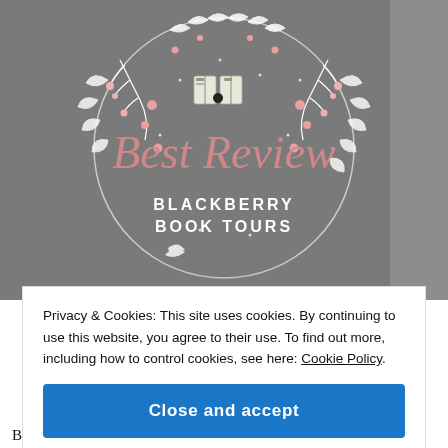[Figure (illustration): Blackberry Book Tours 'Best Review' badge — circular decorative frame with floral and leaf motifs in pink and white on a dark gray background, with two open books illustrated at the top center. Text inside reads 'Best Review' in pink script and 'BLACKBERRY BOOK TOURS' in white caps.]
Privacy & Cookies: This site uses cookies. By continuing to use this website, you agree to their use. To find out more, including how to control cookies, see here: Cookie Policy.
Close and accept
Book Tours, for my review of Imagine That.